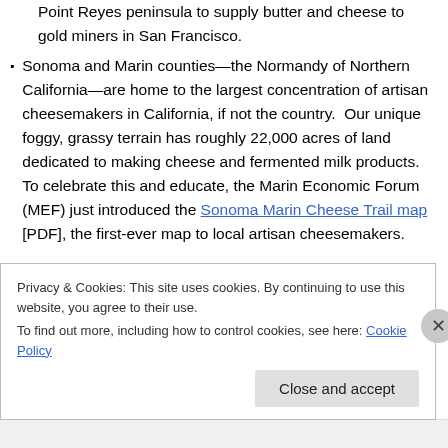Point Reyes peninsula to supply butter and cheese to gold miners in San Francisco.
Sonoma and Marin counties—the Normandy of Northern California—are home to the largest concentration of artisan cheesemakers in California, if not the country.  Our unique foggy, grassy terrain has roughly 22,000 acres of land dedicated to making cheese and fermented milk products. To celebrate this and educate, the Marin Economic Forum (MEF) just introduced the Sonoma Marin Cheese Trail map [PDF], the first-ever map to local artisan cheesemakers.
Privacy & Cookies: This site uses cookies. By continuing to use this website, you agree to their use. To find out more, including how to control cookies, see here: Cookie Policy